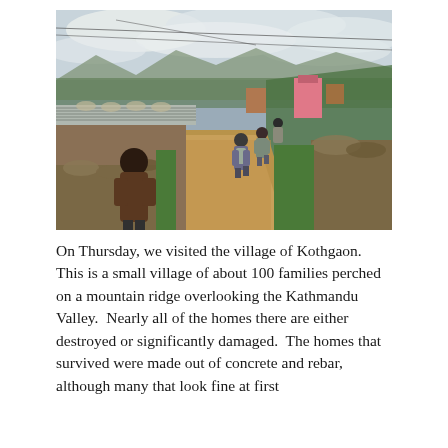[Figure (photo): Outdoor photograph of a dirt path through the village of Kothgaon. In the foreground, a person in a brown jacket stands with their back to the camera, looking toward the path. Several people with backpacks walk along the dirt trail toward the center of the image. On the left side is a structure with a corrugated metal roof surrounded by rubble and stone walls. Green vegetation and trees line the right hillside. In the background are more structures, including a pink building, mountains, and a partly cloudy sky. Electrical wires are visible crossing the upper portion of the image.]
On Thursday, we visited the village of Kothgaon.  This is a small village of about 100 families perched on a mountain ridge overlooking the Kathmandu Valley.  Nearly all of the homes there are either destroyed or significantly damaged.  The homes that survived were made out of concrete and rebar, although many that look fine at first